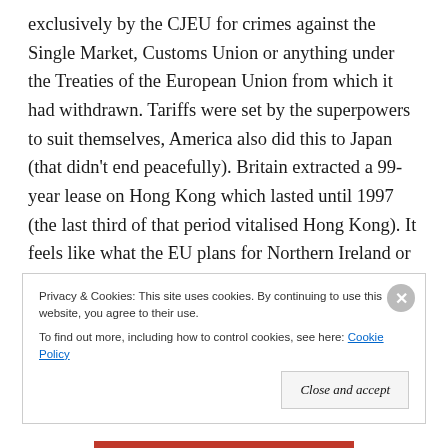exclusively by the CJEU for crimes against the Single Market, Customs Union or anything under the Treaties of the European Union from which it had withdrawn. Tariffs were set by the superpowers to suit themselves, America also did this to Japan (that didn't end peacefully). Britain extracted a 99-year lease on Hong Kong which lasted until 1997 (the last third of that period vitalised Hong Kong). It feels like what the EU plans for Northern Ireland or the whole of Britain unless we get back on the bus—our forecast in this case is that it would lead to mediocrity and decline, at best.
Privacy & Cookies: This site uses cookies. By continuing to use this website, you agree to their use. To find out more, including how to control cookies, see here: Cookie Policy